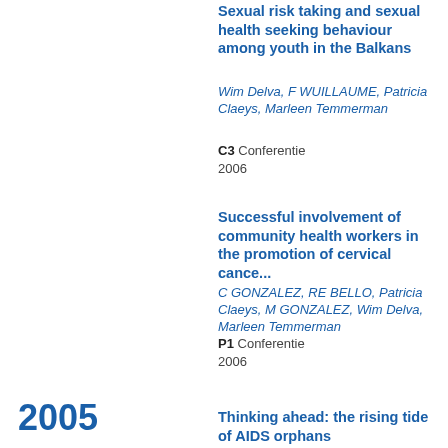Sexual risk taking and sexual health seeking behaviour among youth in the Balkans
Wim Delva, F WUILLAUME, Patricia Claeys, Marleen Temmerman
C3 Conferentie
2006
Successful involvement of community health workers in the promotion of cervical cance...
C GONZALEZ, RE BELLO, Patricia Claeys, M GONZALEZ, Wim Delva, Marleen Temmerman
P1 Conferentie
2006
2005
Thinking ahead: the rising tide of AIDS orphans